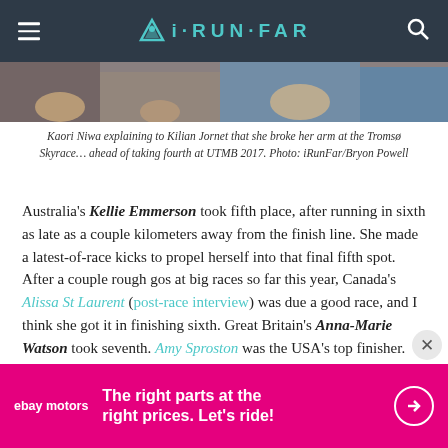iRUN·FAR
[Figure (photo): Partial view of people's hands and upper bodies, likely at a race event]
Kaori Niwa explaining to Kilian Jornet that she broke her arm at the Tromsø Skyrace… ahead of taking fourth at UTMB 2017. Photo: iRunFar/Bryon Powell
Australia's Kellie Emmerson took fifth place, after running in sixth as late as a couple kilometers away from the finish line. She made a latest-of-race kicks to propel herself into that final fifth spot. After a couple rough gos at big races so far this year, Canada's Alissa St Laurent (post-race interview) was due a good race, and I think she got it in finishing sixth. Great Britain's Anna-Marie Watson took seventh. Amy Sproston was the USA's top finisher. She rallied in the race's second half after
[Figure (other): eBay Motors advertisement banner: 'The right parts at the right prices. Let's ride!']